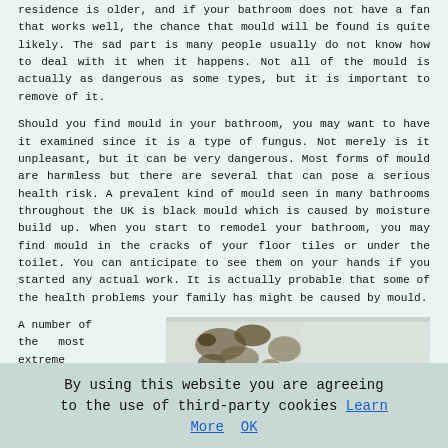residence is older, and if your bathroom does not have a fan that works well, the chance that mould will be found is quite likely. The sad part is many people usually do not know how to deal with it when it happens. Not all of the mould is actually as dangerous as some types, but it is important to remove of it.
Should you find mould in your bathroom, you may want to have it examined since it is a type of fungus. Not merely is it unpleasant, but it can be very dangerous. Most forms of mould are harmless but there are several that can pose a serious health risk. A prevalent kind of mould seen in many bathrooms throughout the UK is black mould which is caused by moisture build up. When you start to remodel your bathroom, you may find mould in the cracks of your floor tiles or under the toilet. You can anticipate to see them on your hands if you started any actual work. It is actually probable that some of the health problems your family has might be caused by mould.
A number of the most extreme kinds of
[Figure (photo): Photo of a bathroom wall/surface with visible mould growth, showing dark patches and what appears to be a faucet or fixture at the bottom right.]
By using this website you are agreeing to the use of third-party cookies Learn More OK